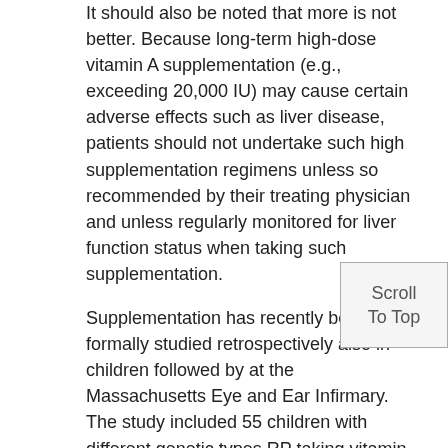It should also be noted that more is not better. Because long-term high-dose vitamin A supplementation (e.g., exceeding 20,000 IU) may cause certain adverse effects such as liver disease, patients should not undertake such high supplementation regimens unless so recommended by their treating physician and unless regularly monitored for liver function status when taking such supplementation.
Supplementation has recently been formally studied retrospectively also in children followed by at the Massachusetts Eye and Ear Infirmary. The study included 55 children with different genetic types RP taking vitamin A palmitate and 25 not taking vitamin A. Age-adjusted dosage supplementation were given to the children (5,000 IU/day for ages 6-10 years old, 10,000 IU/day for ages 10-15 years old, and 15,000 IU/d for ages ≥15 years old, provided that the children had normal serum liver function test results at baseline). Parents were advised that